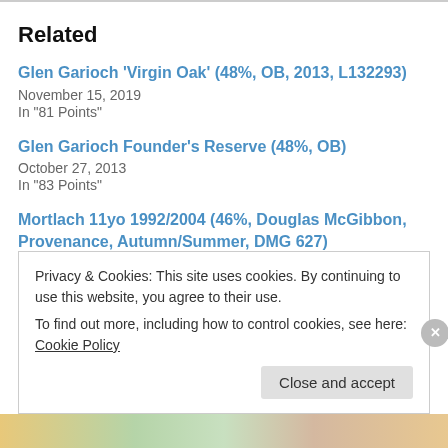Related
Glen Garioch 'Virgin Oak' (48%, OB, 2013, L132293)
November 15, 2019
In "81 Points"
Glen Garioch Founder's Reserve (48%, OB)
October 27, 2013
In "83 Points"
Mortlach 11yo 1992/2004 (46%, Douglas McGibbon, Provenance, Autumn/Summer, DMG 627)
February 13, 2017
In "81 Points"
Privacy & Cookies: This site uses cookies. By continuing to use this website, you agree to their use.
To find out more, including how to control cookies, see here: Cookie Policy
Close and accept